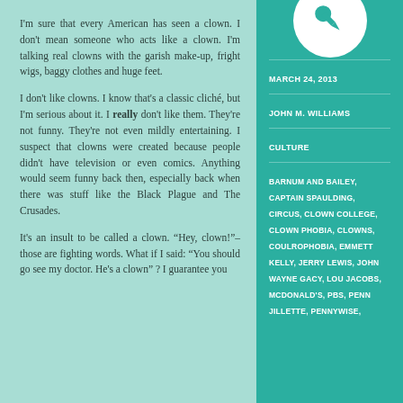[Figure (illustration): Pin/thumbtack icon inside a white circle on teal background]
MARCH 24, 2013
JOHN M. WILLIAMS
CULTURE
BARNUM AND BAILEY, CAPTAIN SPAULDING, CIRCUS, CLOWN COLLEGE, CLOWN PHOBIA, CLOWNS, COULROPHOBIA, EMMETT KELLY, JERRY LEWIS, JOHN WAYNE GACY, LOU JACOBS, MCDONALD'S, PBS, PENN JILLETTE, PENNYWISE,
I'm sure that every American has seen a clown. I don't mean someone who acts like a clown. I'm talking real clowns with the garish make-up, fright wigs, baggy clothes and huge feet.
I don't like clowns. I know that's a classic cliché, but I'm serious about it. I really don't like them. They're not funny. They're not even mildly entertaining. I suspect that clowns were created because people didn't have television or even comics. Anything would seem funny back then, especially back when there was stuff like the Black Plague and The Crusades.
It's an insult to be called a clown. "Hey, clown!"–those are fighting words. What if I said: "You should go see my doctor. He's a clown" ? I guarantee you